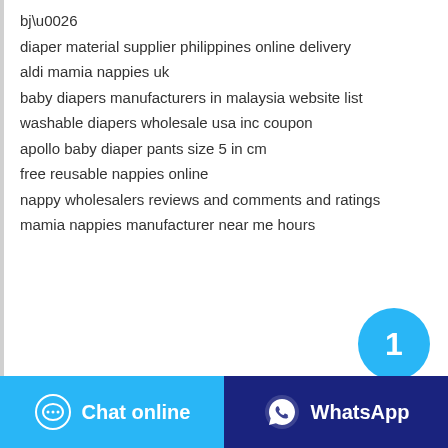bj\u0026
diaper material supplier philippines online delivery
aldi mamia nappies uk
baby diapers manufacturers in malaysia website list
washable diapers wholesale usa inc coupon
apollo baby diaper pants size 5 in cm
free reusable nappies online
nappy wholesalers reviews and comments and ratings
mamia nappies manufacturer near me hours
[Figure (screenshot): Chat popup with agent Iris saying 'Hello, I am Iris, I am very glad to talk with you!']
Popular products from suppliers
[Figure (photo): Product thumbnail for Ultra Dry Nappies Baby Unisex by BUBUBEAR]
Ultra Dry Nappies Baby Unisex
BUBUBEAR
[Figure (infographic): Circular badge with number 1]
Chat online
WhatsApp